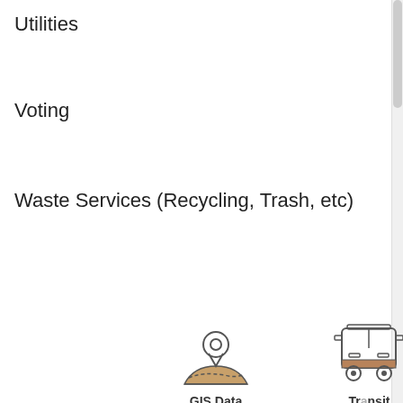Utilities
Voting
Waste Services (Recycling, Trash, etc)
[Figure (illustration): GIS Data icon: map with location pin]
GIS Data
[Figure (illustration): Transit icon: front of a bus]
Transit
Questions?
[Figure (illustration): Parks & Recreation icon: tree/pine shape]
Parks & Recreation
[Figure (illustration): Pay Bills Online icon: credit card]
Pay Bills Online
[Figure (logo): Charlottesville, Virginia city seal]
Select Language